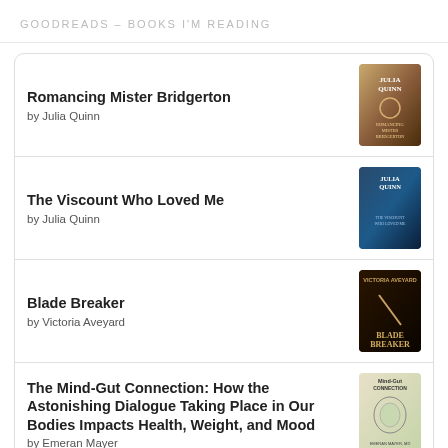GOODREADS – BOOKS I'M READING
Romancing Mister Bridgerton by Julia Quinn
The Viscount Who Loved Me by Julia Quinn
Blade Breaker by Victoria Aveyard
The Mind-Gut Connection: How the Astonishing Dialogue Taking Place in Our Bodies Impacts Health, Weight, and Mood by Emeran Mayer
Legendborn by Tracy Deonn